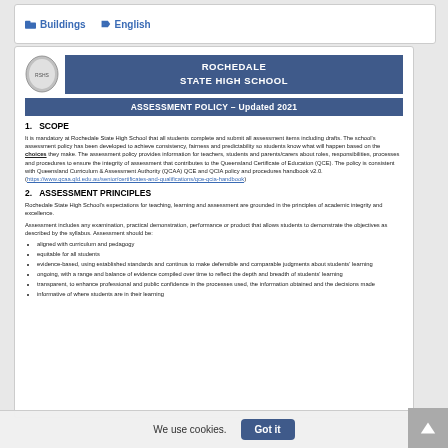📁 Buildings 🏷 English
ROCHEDALE STATE HIGH SCHOOL
ASSESSMENT POLICY – Updated 2021
1. SCOPE
It is mandatory at Rochedale State High School that all students complete and submit all assessment items including drafts. The school's assessment policy has been developed to achieve consistency, fairness and predictability so students know what will happen based on the choices they make. The assessment policy provides information for teachers, students and parents/carers about roles, responsibilities, processes and procedures to ensure the integrity of assessment that contributes to the Queensland Certificate of Education (QCE). The policy is consistent with Queensland Curriculum & Assessment Authority (QCAA) QCE and QCIA policy and procedures handbook v2.0. ( https://www.qcaa.qld.edu.au/senior/certificates-and-qualifications/qce-qcia-handbook )
2. ASSESSMENT PRINCIPLES
Rochedale State High School's expectations for teaching, learning and assessment are grounded in the principles of academic integrity and excellence.
Assessment includes any examination, practical demonstration, performance or product that allows students to demonstrate the objectives as described by the syllabus. Assessment should be:
aligned with curriculum and pedagogy
equitable for all students
evidence-based, using established standards and continua to make defensible and comparable judgments about students' learning
ongoing, with a range and balance of evidence compiled over time to reflect the depth and breadth of students' learning
transparent, to enhance professional and public confidence in the processes used, the information obtained and the decisions made
informative of where students are in their learning
We use cookies. Got it